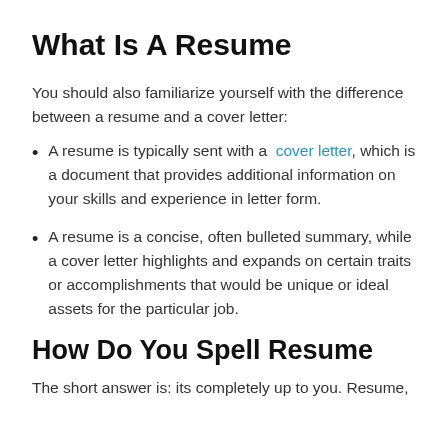What Is A Resume
You should also familiarize yourself with the difference between a resume and a cover letter:
A resume is typically sent with a cover letter, which is a document that provides additional information on your skills and experience in letter form.
A resume is a concise, often bulleted summary, while a cover letter highlights and expands on certain traits or accomplishments that would be unique or ideal assets for the particular job.
How Do You Spell Resume
The short answer is: its completely up to you. Resume,